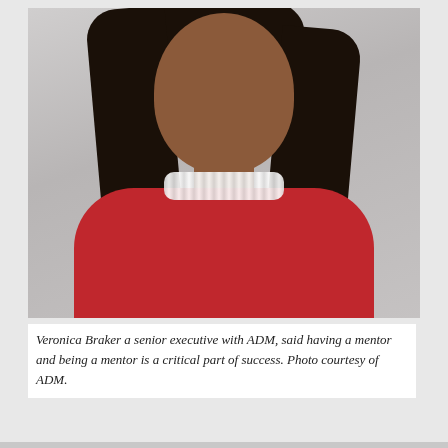[Figure (photo): Professional headshot portrait of Veronica Braker, a senior executive with ADM. She is a Black woman with long dark hair, wearing a red jacket and a multi-strand pearl necklace, smiling against a light gray background.]
Veronica Braker a senior executive with ADM, said having a mentor and being a mentor is a critical part of success. Photo courtesy of ADM.